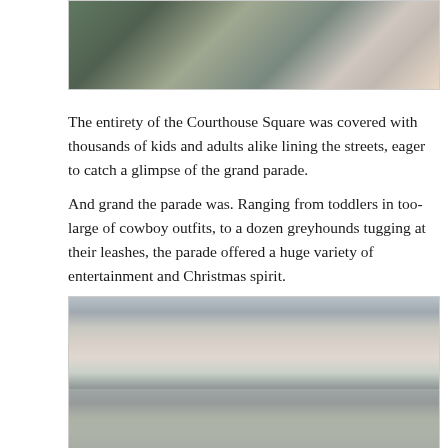[Figure (photo): Crowd of people sitting along a street watching a parade, with lawn chairs and various colored clothing visible]
The entirety of the Courthouse Square was covered with thousands of kids and adults alike lining the streets, eager to catch a glimpse of the grand parade.
And grand the parade was. Ranging from toddlers in too-large of cowboy outfits, to a dozen greyhounds tugging at their leashes, the parade offered a huge variety of entertainment and Christmas spirit.
[Figure (photo): Marching band with white and green pom-pom hats performing near a building with red trim accents, with a stage or covered area visible in the background]